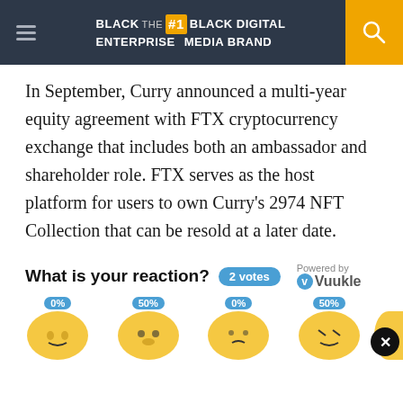BLACK ENTERPRISE THE #1 BLACK DIGITAL MEDIA BRAND
In September, Curry announced a multi-year equity agreement with FTX cryptocurrency exchange that includes both an ambassador and shareholder role. FTX serves as the host platform for users to own Curry's 2974 NFT Collection that can be resold at a later date.
What is your reaction? 2 votes Powered by Vuukle
[Figure (infographic): Reaction emoji row with percentage labels: 0%, 50%, 0%, 50% and a partial emoji on the right edge. Close button (X) at bottom right.]